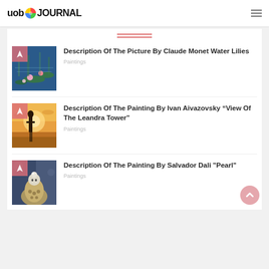uob JOURNAL
[Figure (illustration): Water lilies painting thumbnail - Monet]
Description Of The Picture By Claude Monet Water Lilies
Paintings
[Figure (illustration): Aivazovsky painting thumbnail - View of the Leandra Tower at sunset]
Description Of The Painting By Ivan Aivazovsky “View Of The Leandra Tower”
Paintings
[Figure (illustration): Salvador Dali Pearl painting thumbnail - figure with pearl dress]
Description Of The Painting By Salvador Dali "Pearl"
Paintings